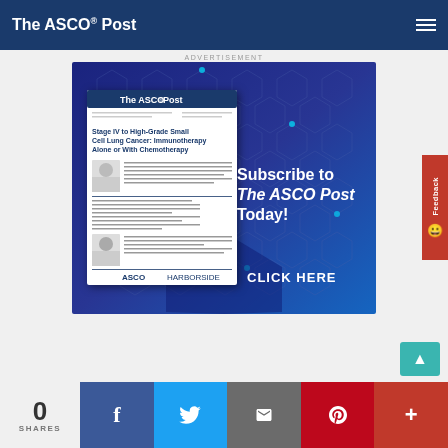The ASCO Post
ADVERTISEMENT
[Figure (illustration): The ASCO Post subscription advertisement banner with dark blue hexagonal network background. Shows a magazine cover on the left side with 'The ASCO Post' and medical content. Text on right reads 'Subscribe to The ASCO Post Today!' with 'CLICK HERE' button at bottom.]
0
SHARES